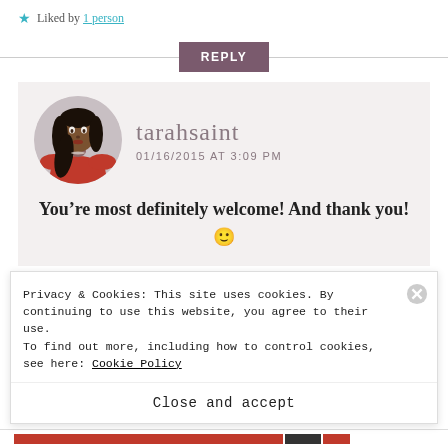★ Liked by 1 person
REPLY
tarahsaint
01/16/2015 AT 3:09 PM
[Figure (photo): Circular avatar photo of a woman wearing a red off-shoulder top, with long black hair]
You're most definitely welcome! And thank you! 🙂
★ Like
Privacy & Cookies: This site uses cookies. By continuing to use this website, you agree to their use.
To find out more, including how to control cookies, see here: Cookie Policy
Close and accept